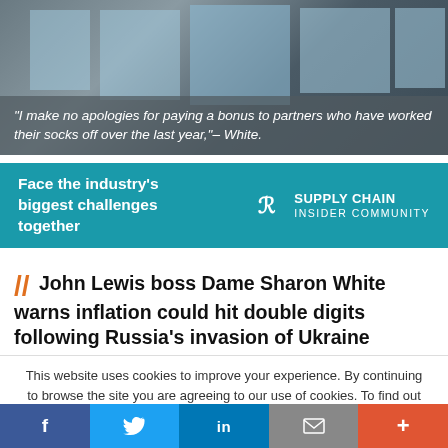[Figure (photo): Building exterior photo with glass windows]
"I make no apologies for paying a bonus to partners who have worked their socks off over the last year,"– White.
[Figure (other): Supply Chain Insider Community advertisement banner with teal background]
Face the industry's biggest challenges together
// John Lewis boss Dame Sharon White warns inflation could hit double digits following Russia's invasion of Ukraine
This website uses cookies to improve your experience. By continuing to browse the site you are agreeing to our use of cookies. To find out more please read our privacy policy
Accept - To find out more: Read our updated privacy